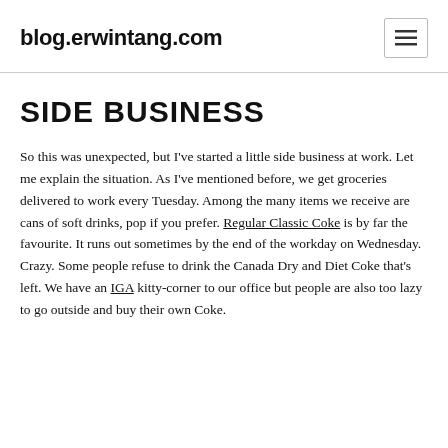blog.erwintang.com
SIDE BUSINESS
So this was unexpected, but I've started a little side business at work. Let me explain the situation. As I've mentioned before, we get groceries delivered to work every Tuesday. Among the many items we receive are cans of soft drinks, pop if you prefer. Regular Classic Coke is by far the favourite. It runs out sometimes by the end of the workday on Wednesday. Crazy. Some people refuse to drink the Canada Dry and Diet Coke that's left. We have an IGA kitty-corner to our office but people are also too lazy to go outside and buy their own Coke.